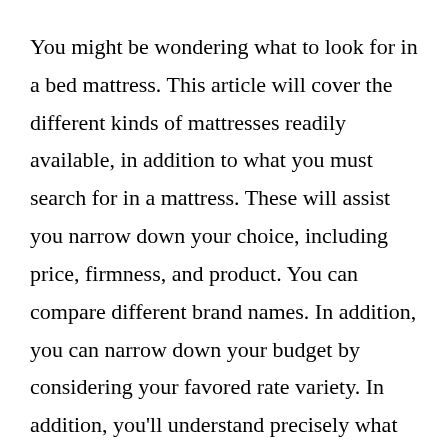You might be wondering what to look for in a bed mattress. This article will cover the different kinds of mattresses readily available, in addition to what you must search for in a mattress. These will assist you narrow down your choice, including price, firmness, and product. You can compare different brand names. In addition, you can narrow down your budget by considering your favored rate variety. In addition, you'll understand precisely what to look for in a mattress prior to you go shopping.